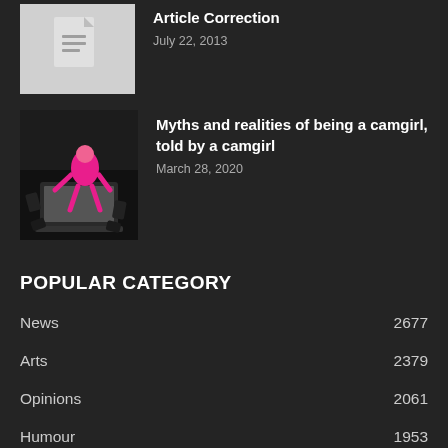[Figure (illustration): Document/file icon on grey background]
Article Correction
July 22, 2013
[Figure (photo): Pink cartoon/toy figure using a laptop on a dark background with pattern]
Myths and realities of being a camgirl, told by a camgirl
March 28, 2020
POPULAR CATEGORY
News 2677
Arts 2379
Opinions 2061
Humour 1953
Sports 1371
Top Arts 1201
Features 919